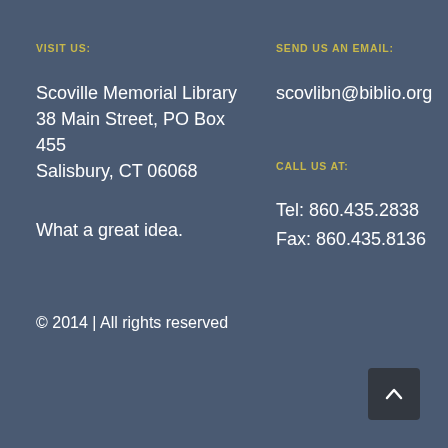VISIT US:
Scoville Memorial Library
38 Main Street, PO Box 455
Salisbury, CT 06068
What a great idea.
© 2014 | All rights reserved
SEND US AN EMAIL:
scovlibn@biblio.org
CALL US AT:
Tel: 860.435.2838
Fax: 860.435.8136